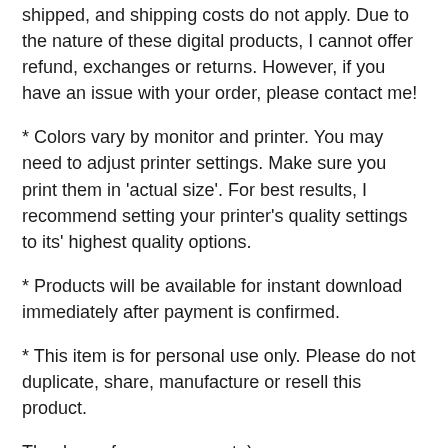shipped, and shipping costs do not apply. Due to the nature of these digital products, I cannot offer refund, exchanges or returns. However, if you have an issue with your order, please contact me!
* Colors vary by monitor and printer. You may need to adjust printer settings. Make sure you print them in 'actual size'. For best results, I recommend setting your printer's quality settings to its' highest quality options.
* Products will be available for instant download immediately after payment is confirmed.
* This item is for personal use only. Please do not duplicate, share, manufacture or resell this product.
Thank you for your support :)